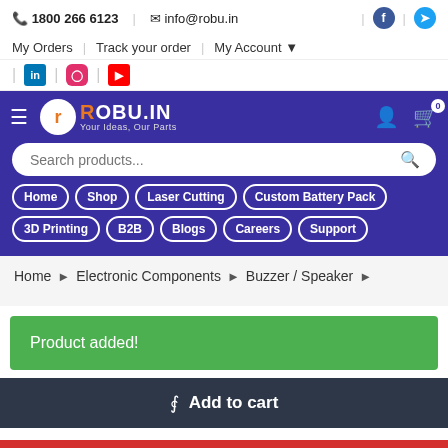✆ 1800 266 6123  ✉ info@robu.in
My Orders | Track your order | My Account ▼  [Facebook] [Twitter]
[LinkedIn] [Instagram] [YouTube]
[Figure (logo): ROBU.IN logo — orange circle with 'r', white text ROBU.IN in purple header, tagline: Your Ideas, Our Parts]
Search products...
Home
Shop
Laser Cutting
Custom Battery Pack
3D Printing
B2B
Blogs
Careers
Support
Home › Electronic Components › Buzzer / Speaker ›
Product added!
Add to cart